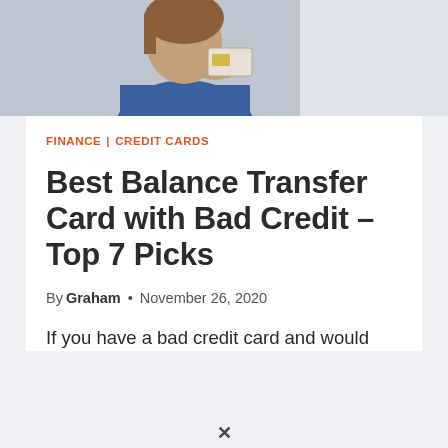[Figure (photo): Person holding a credit card, viewed from below chin level, wearing a blue top, with brown hair.]
FINANCE | CREDIT CARDS
Best Balance Transfer Card with Bad Credit – Top 7 Picks
By Graham • November 26, 2020
If you have a bad credit card and would